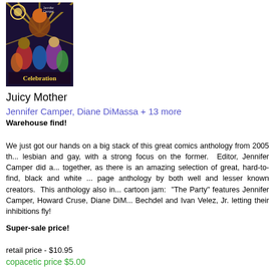[Figure (illustration): Comic book cover for Juicy Mother: Celebration, showing colorful illustrated characters with the title text]
Juicy Mother
Jennifer Camper, Diane DiMassa + 13 more
Warehouse find!
We just got our hands on a big stack of this great comics anthology from 2005 that is both lesbian and gay, with a strong focus on the former.  Editor, Jennifer Camper did an amazing job putting it together, as there is an amazing selection of great, hard-to-find, black and white comics in this 200+ page anthology by both well and lesser known creators.  This anthology also includes a particularly great cartoon jam:  "The Party" features Jennifer Camper, Howard Cruse, Diane DiMassa, Alison Bechdel and Ivan Velez, Jr. letting their inhibitions fly!
Super-sale price!
retail price - $10.95
copacetic price $5.00